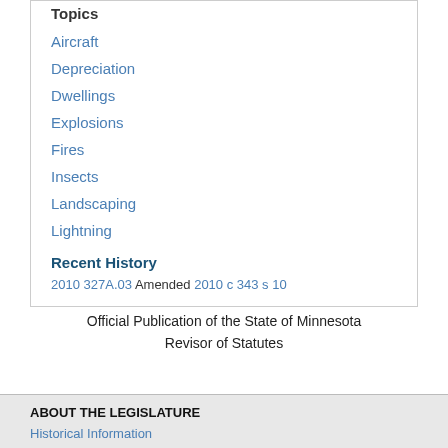Topics
Aircraft
Depreciation
Dwellings
Explosions
Fires
Insects
Landscaping
Lightning
Recent History
2010 327A.03 Amended 2010 c 343 s 10
Official Publication of the State of Minnesota
Revisor of Statutes
ABOUT THE LEGISLATURE
Historical Information